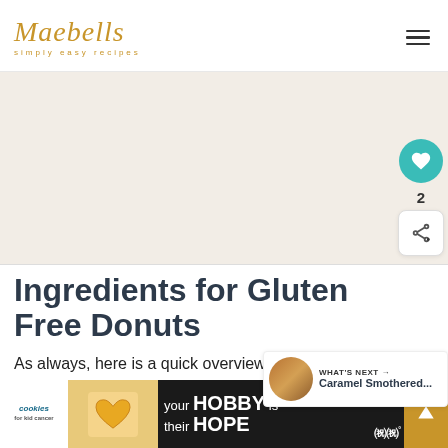Maebells simply easy recipes
[Figure (other): Gray advertisement banner placeholder area]
Ingredients for Gluten Free Donuts
As always, here is a quick overview of the ingredients used to make our Apple Pie Donuts. Keep
[Figure (infographic): What's Next callout box showing Caramel Smothered... article thumbnail]
[Figure (infographic): Bottom advertisement banner: cookies for kid cancer - your HOBBY is their HOPE]